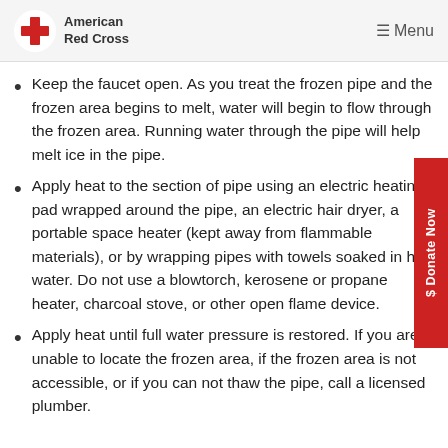American Red Cross — Menu
Keep the faucet open. As you treat the frozen pipe and the frozen area begins to melt, water will begin to flow through the frozen area. Running water through the pipe will help melt ice in the pipe.
Apply heat to the section of pipe using an electric heating pad wrapped around the pipe, an electric hair dryer, a portable space heater (kept away from flammable materials), or by wrapping pipes with towels soaked in hot water. Do not use a blowtorch, kerosene or propane heater, charcoal stove, or other open flame device.
Apply heat until full water pressure is restored. If you are unable to locate the frozen area, if the frozen area is not accessible, or if you can not thaw the pipe, call a licensed plumber.